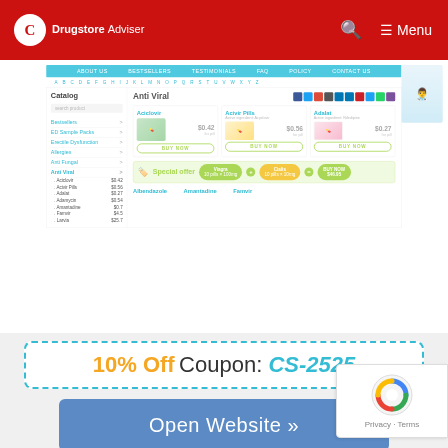Drugstore Adviser — Menu
[Figure (screenshot): Screenshot of a drugstore website showing Anti Viral medication catalog with products Aciclovir ($0.42/pill), Acivir Pills ($0.56/pill), Adalat ($0.27/pill), a Special Offer section with Viagra + Cialis, and bottom listings for Albendazole, Amantadine, Famvir]
10% Off Coupon: CS-2525
Open Website »